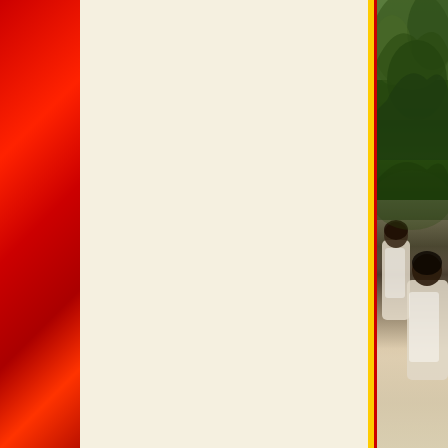[Figure (photo): Page layout with three vertical sections: a red textured leather panel on the left, a cream/off-white blank panel in the center with a red right border, and a narrow photo panel on the right showing an outdoor scene with tropical foliage (palm/fern leaves) and people in white shirts seated or standing outdoors, bordered by yellow and red vertical lines.]